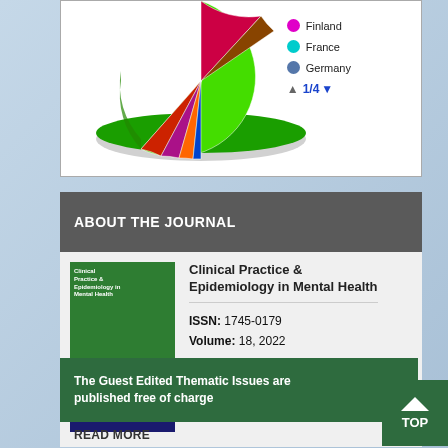[Figure (pie-chart): Pie chart showing country distribution, predominantly green. Legend shows Finland, France, Germany with navigation 1/4]
ABOUT THE JOURNAL
[Figure (photo): Book cover: Clinical Practice & Epidemiology in Mental Health, green cover with red swirl design and small photo strip]
Clinical Practice & Epidemiology in Mental Health
ISSN: 1745-0179
Volume: 18, 2022
Download Flyer
The Guest Edited Thematic Issues are published free of charge
READ MORE